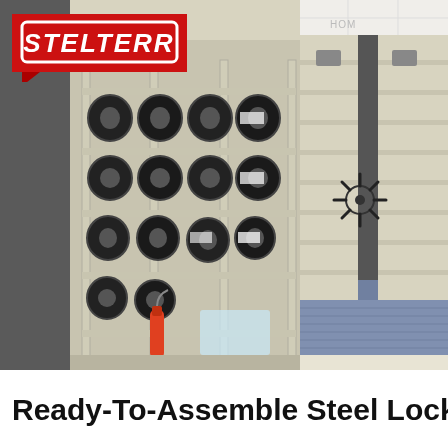[Figure (photo): Stelterr logo on red background with white italic bold text and white border, top-left of page header]
[Figure (photo): Left photo: large industrial steel shelving rack holding multiple rows of tires in a warehouse setting]
[Figure (photo): Right photo: tall beige mobile high-density shelving units in a library/office with blue carpet, showing aisle and hand-crank handle]
Ready-To-Assemble Steel Locki